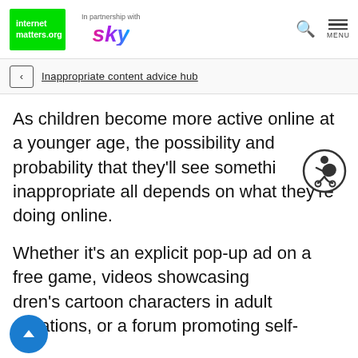internet matters.org | In partnership with sky | Search | Menu
Inappropriate content advice hub
As children become more active online at a younger age, the possibility and probability that they'll see something inappropriate all depends on what they're doing online.
Whether it's an explicit pop-up ad on a free game, videos showcasing children's cartoon characters in adult situations, or a forum promoting self-